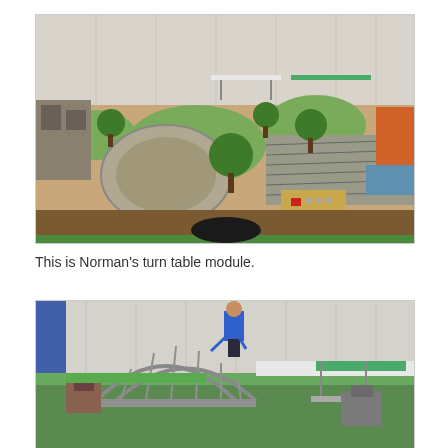[Figure (photo): Aerial view of a model train layout showing a turntable module with miniature trees, train tracks, a small building on the left, and a control panel box. The layout is set on a table in an indoor venue with metal wall panels.]
This is Norman's turn table module.
[Figure (photo): A person in a blue shirt leaning over a model train layout being set up. The layout features a large metal arch bridge structure, model buildings, and tables with green surface coverings in an indoor venue.]